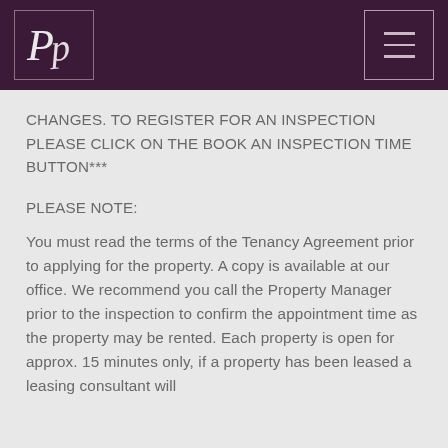[Figure (logo): PP script logo in white on dark purple background, inside a bordered box]
CHANGES. TO REGISTER FOR AN INSPECTION PLEASE CLICK ON THE BOOK AN INSPECTION TIME BUTTON***
PLEASE NOTE:
You must read the terms of the Tenancy Agreement prior to applying for the property. A copy is available at our office. We recommend you call the Property Manager prior to the inspection to confirm the appointment time as the property may be rented. Each property is open for approx. 15 minutes only, if a property has been leased a leasing consultant will